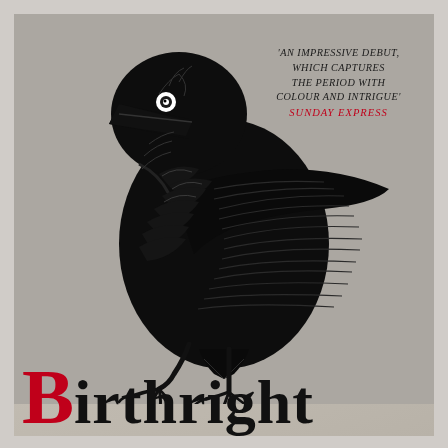[Figure (illustration): A large detailed woodcut-style black raven/crow standing on a surface, with intricate feather detailing, against a light grey textured background. The bird faces left with one eye visible.]
'AN IMPRESSIVE DEBUT, WHICH CAPTURES THE PERIOD WITH COLOUR AND INTRIGUE' SUNDAY EXPRESS
Birthright